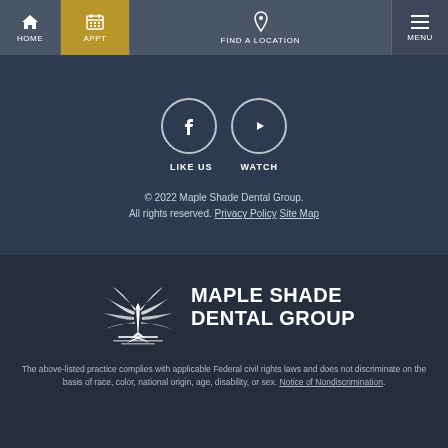HOME | APPT | FIND A LOCATION | MENU
[Figure (logo): Facebook circle icon with 'LIKE US' label and YouTube circle icon with 'WATCH' label]
© 2022 Maple Shade Dental Group. All rights reserved. Privacy Policy Site Map
[Figure (logo): Maple Shade Dental Group logo with tree/palm graphic and stylized text]
The above-listed practice complies with applicable Federal civil rights laws and does not discriminate on the basis of race, color, national origin, age, disability, or sex. Notice of Nondiscrimination.